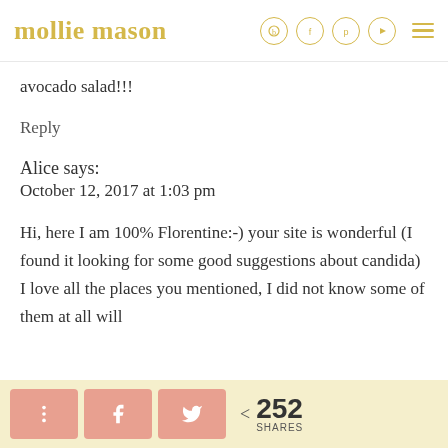mollie mason
avocado salad!!!
Reply
Alice says:
October 12, 2017 at 1:03 pm
Hi, here I am 100% Florentine:-) your site is wonderful (I found it looking for some good suggestions about candida) I love all the places you mentioned, I did not know some of them at all will
252 SHARES